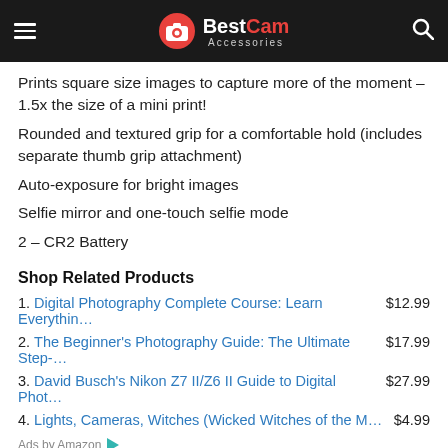BestCam Accessories
Prints square size images to capture more of the moment – 1.5x the size of a mini print!
Rounded and textured grip for a comfortable hold (includes separate thumb grip attachment)
Auto-exposure for bright images
Selfie mirror and one-touch selfie mode
2 – CR2 Battery
Shop Related Products
1. Digital Photography Complete Course: Learn Everythin… $12.99
2. The Beginner's Photography Guide: The Ultimate Step-… $17.99
3. David Busch's Nikon Z7 II/Z6 II Guide to Digital Phot… $27.99
4. Lights, Cameras, Witches (Wicked Witches of the M… $4.99
Ads by Amazon
Shop Now